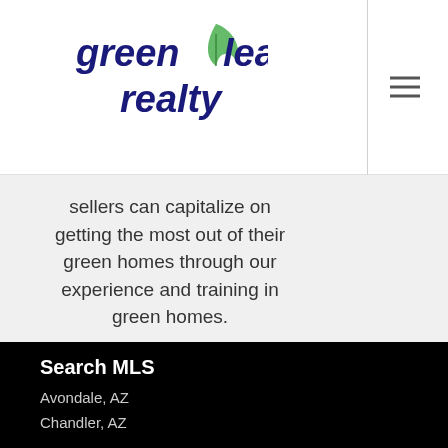[Figure (logo): Green Leaf Realty logo with green leaf icon and dark blue text reading 'green leaf realty']
sellers can capitalize on getting the most out of their green homes through our experience and training in green homes.
Search MLS
Avondale, AZ
Chandler, AZ